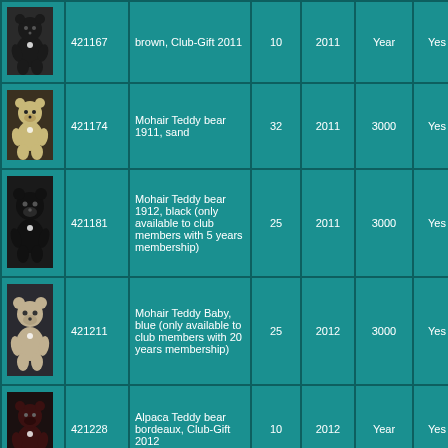| Image | Number | Description | Size | Year | Limited | Button | Certificate |
| --- | --- | --- | --- | --- | --- | --- | --- |
| [image] | 421167 | brown, Club-Gift 2011 | 10 | 2011 | Year | Yes | Yes |
| [image] | 421174 | Mohair Teddy bear 1911, sand | 32 | 2011 | 3000 | Yes | Yes |
| [image] | 421181 | Mohair Teddy bear 1912, black (only available to club members with 5 years membership) | 25 | 2011 | 3000 | Yes | Yes |
| [image] | 421211 | Mohair Teddy Baby, blue (only available to club members with 20 years membership) | 25 | 2012 | 3000 | Yes | Yes |
| [image] | 421228 | Alpaca Teddy bear bordeaux, Club-Gift 2012 | 10 | 2012 | Year | Yes | Yes |
| [image] |  | Steiff silk plush |  |  |  |  |  |